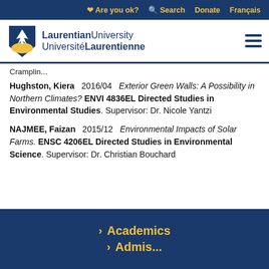Are you ok? Search Donate Français
[Figure (logo): Laurentian University / Université Laurentienne logo with shield emblem]
Cramptin...
Hughston, Kiera   2016/04   Exterior Green Walls: A Possibility in Northern Climates? ENVI 4836EL Directed Studies in Environmental Studies. Supervisor: Dr. Nicole Yantzi
NAJMEE, Faizan   2015/12   Environmental Impacts of Solar Farms. ENSC 4206EL Directed Studies in Environmental Science. Supervisor: Dr. Christian Bouchard
Academics
Admis...